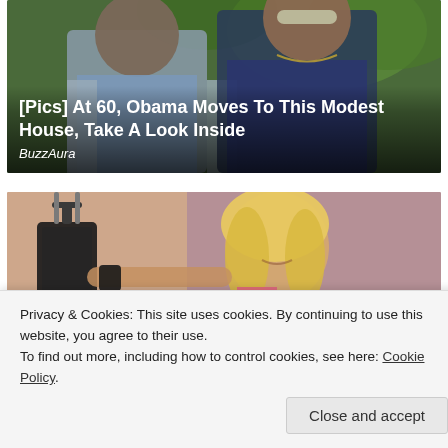[Figure (photo): Photo of two people (man in checked shirt and woman with sunglasses) outdoors with green trees, with overlay text about Obama moving to a modest house]
[Pics] At 60, Obama Moves To This Modest House, Take A Look Inside
BuzzAura
[Figure (photo): Photo of a blonde woman with a suitcase/luggage in what appears to be a studio or store setting]
Privacy & Cookies: This site uses cookies. By continuing to use this website, you agree to their use.
To find out more, including how to control cookies, see here: Cookie Policy